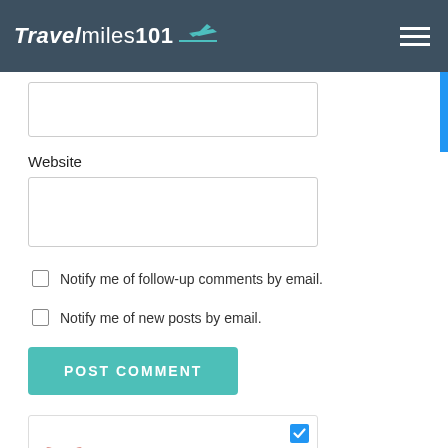[Figure (logo): TravelMiles101 website logo with airplane icon on dark slate header bar with hamburger menu]
Website
[Figure (screenshot): Website input text field (empty)]
Notify me of follow-up comments by email.
Notify me of new posts by email.
POST COMMENT
[Figure (logo): CommentLuv logo with red wings icon and text COMMENTLUV, with blue checked checkbox]